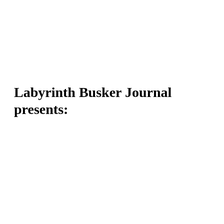Labyrinth Busker Journal presents: